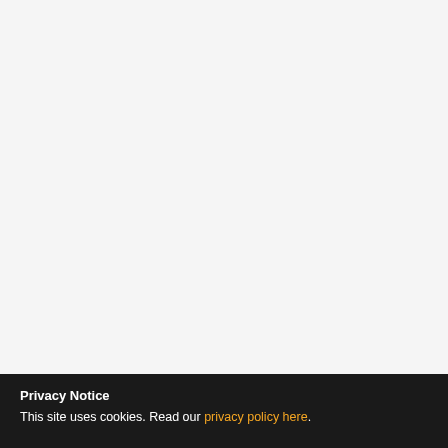Privacy Notice
This site uses cookies. Read our privacy policy here.